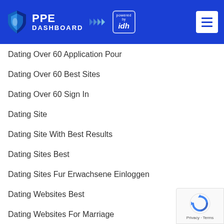[Figure (logo): PPE Dashboard logo with shield icon and 'powered by idh' badge, blue header with hamburger menu]
Dating Over 60 Application Pour
Dating Over 60 Best Sites
Dating Over 60 Sign In
Dating Site
Dating Site With Best Results
Dating Sites Best
Dating Sites Fur Erwachsene Einloggen
Dating Websites Best
Dating Websites For Marriage